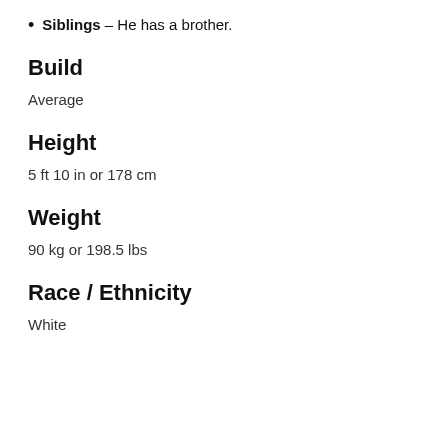Siblings – He has a brother.
Build
Average
Height
5 ft 10 in or 178 cm
Weight
90 kg or 198.5 lbs
Race / Ethnicity
White